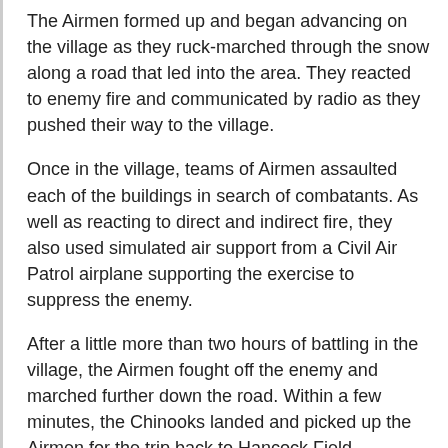The Airmen formed up and began advancing on the village as they ruck-marched through the snow along a road that led into the area. They reacted to enemy fire and communicated by radio as they pushed their way to the village.
Once in the village, teams of Airmen assaulted each of the buildings in search of combatants. As well as reacting to direct and indirect fire, they also used simulated air support from a Civil Air Patrol airplane supporting the exercise to suppress the enemy.
After a little more than two hours of battling in the village, the Airmen fought off the enemy and marched further down the road. Within a few minutes, the Chinooks landed and picked up the Airmen for the trip back to Hancock Field.
For Rossen, the real-life scenario - even at a slower pace - helps Soldiers and Airmen alike gain familiarization and know what to do before they are presented with the real